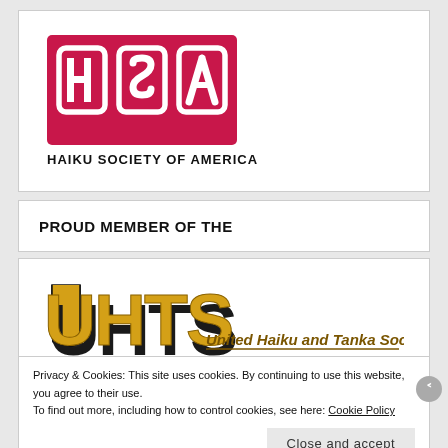[Figure (logo): HSA - Haiku Society of America logo: crimson/red background box with stylized white letter forms H, S, A, below which reads 'HAIKU SOCIETY OF AMERICA' in bold black capitals]
PROUD MEMBER OF THE
[Figure (logo): UHTS - United Haiku and Tanka Society logo: bold 3D yellow/gold block letters 'UHTS' on the left with black shadow/perspective, and italic text 'United Haiku and Tanka Society' in dark gold to the right]
Privacy & Cookies: This site uses cookies. By continuing to use this website, you agree to their use.
To find out more, including how to control cookies, see here: Cookie Policy
Close and accept